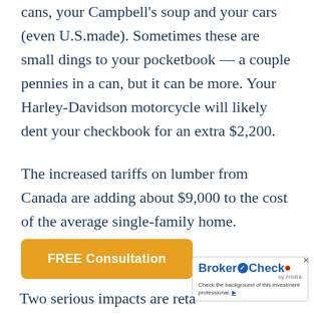cans, your Campbell's soup and your cars (even U.S.made). Sometimes these are small dings to your pocketbook — a couple pennies in a can, but it can be more. Your Harley-Davidson motorcycle will likely dent your checkbook for an extra $2,200.
The increased tariffs on lumber from Canada are adding about $9,000 to the cost of the average single-family home.
[Figure (other): Orange rounded button labeled 'FREE Consultation']
[Figure (logo): BrokerCheck by FINRA widget with blue logo, checkmark circle, red dot, and tagline 'Check the background of this investment professional.']
Two serious impacts are retaliatory tar…